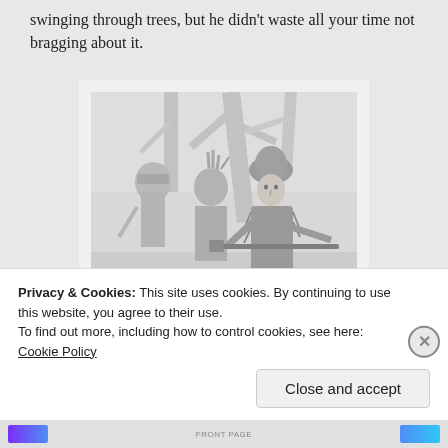swinging through trees, but he didn't waste all your time not bragging about it.
[Figure (illustration): Black and white pencil sketch illustration showing three figures in a forest setting. The foreground figure wears a fur hat and frontier clothing and carries a musket/rifle. Behind him is a figure with a mohawk hairstyle. A third figure with a tricorn hat is visible in the background. The scene suggests a colonial-era frontier or wilderness encounter.]
Privacy & Cookies: This site uses cookies. By continuing to use this website, you agree to their use.
To find out more, including how to control cookies, see here: Cookie Policy